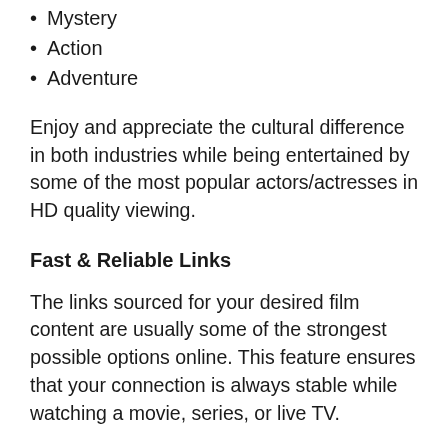Mystery
Action
Adventure
Enjoy and appreciate the cultural difference in both industries while being entertained by some of the most popular actors/actresses in HD quality viewing.
Fast & Reliable Links
The links sourced for your desired film content are usually some of the strongest possible options online. This feature ensures that your connection is always stable while watching a movie, series, or live TV.
No Registration Required